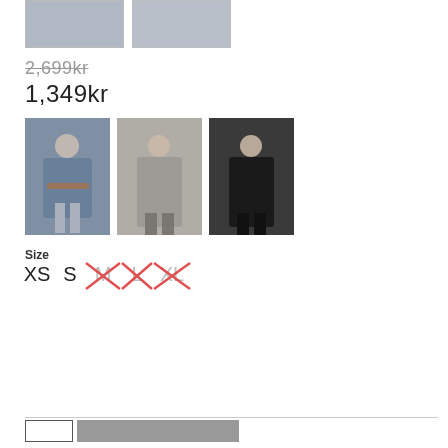[Figure (photo): Two product photos of a blue/gray long-sleeve top worn by a model, shown from front and back/side, partial crop at top of page]
2,699kr (strikethrough original price)
1,349kr (sale price)
[Figure (photo): Three color variant swatches: blue top with belt, gray top, black top, each shown on a model]
Size
XS  S  M (crossed out)  L (crossed out)  XL (crossed out)
[Figure (other): Quantity button and add-to-cart button at bottom]